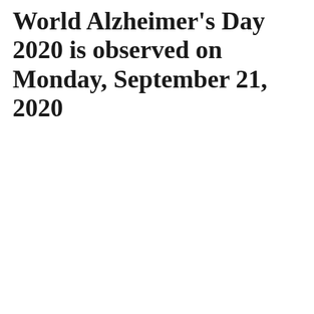World Alzheimer's Day 2020 is observed on Monday, September 21, 2020